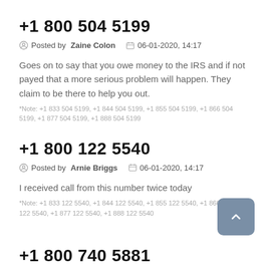+1 800 504 5199
Posted by Zaine Colon   06-01-2020, 14:17
Goes on to say that you owe money to the IRS and if not payed that a more serious problem will happen. They claim to be there to help you out.
*Note: +1 833 504 5199, +1 844 504 5199, +1 855 504 5199, +1 866 504 5199, +1 877 504 5199, +1 888 504 5199
+1 800 122 5540
Posted by Arnie Briggs   06-01-2020, 14:17
I received call from this number twice today
*Note: +1 833 122 5540, +1 844 122 5540, +1 855 122 5540, +1 866 122 5540, +1 877 122 5540, +1 888 122 5540
+1 800 740 5881